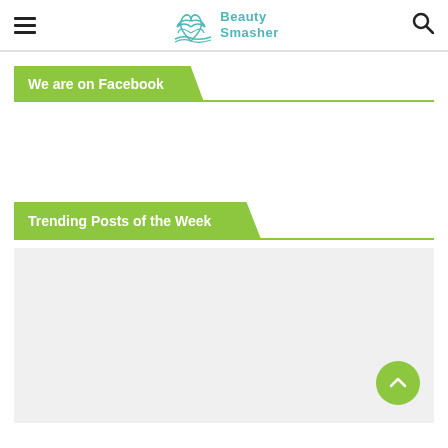Beauty Smasher
We are on Facebook
Trending Posts of the Week
[Figure (other): Gray placeholder image area for trending posts content]